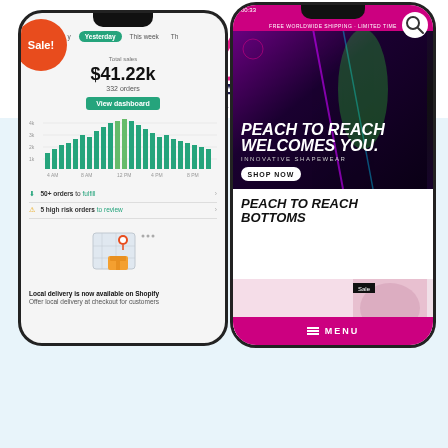[Figure (logo): Marek Frantsuzov Global Media Marketing logo with pink GMM script letters above bold navy MAREK FRANTSUZOV text]
[Figure (screenshot): Left phone showing Shopify dashboard with $41.22k total sales, 332 orders, bar chart of daily sales, 50+ orders to fulfill, 5 high risk orders to review, local delivery notification]
[Figure (screenshot): Right phone showing Peach to Reach shapewear website with hero image, PEACH TO REACH WELCOMES YOU. INNOVATIVE SHAPEWEAR, SHOP NOW button, PEACH TO REACH BOTTOMS product section, pink MENU bar]